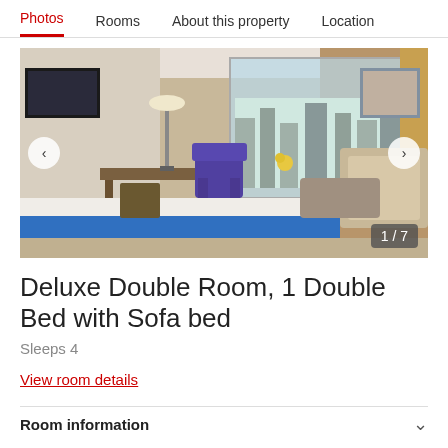Photos  Rooms  About this property  Location
[Figure (photo): Hotel deluxe double room interior with large window view of city, purple accent chair, blue bed runner, decorative pillows, TV mounted on wall, and modern furniture. Navigation arrows on left and right sides with '1 / 7' counter badge.]
Deluxe Double Room, 1 Double Bed with Sofa bed
Sleeps 4
View room details
Room information